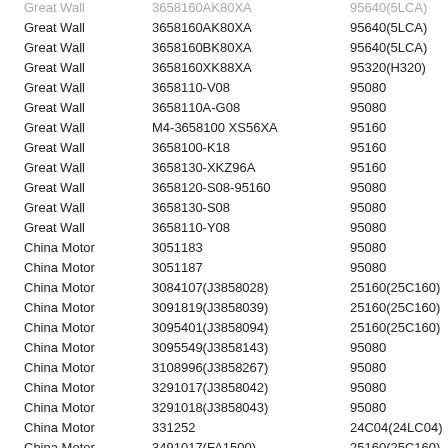| Brand | Part Number | IC |
| --- | --- | --- |
| Great Wall | 3658160AK80XA | 95640(5LCA) |
| Great Wall | 3658160BK80XA | 95640(5LCA) |
| Great Wall | 3658160XK88XA | 95320(H320) |
| Great Wall | 3658110-V08 | 95080 |
| Great Wall | 3658110A-G08 | 95080 |
| Great Wall | M4-3658100 XS56XA | 95160 |
| Great Wall | 3658100-K18 | 95160 |
| Great Wall | 3658130-XKZ96A | 95160 |
| Great Wall | 3658120-S08-95160 | 95080 |
| Great Wall | 3658130-S08 | 95080 |
| Great Wall | 3658110-Y08 | 95080 |
| China Motor | 3051183 | 95080 |
| China Motor | 3051187 | 95080 |
| China Motor | 3084107(J3858028) | 25160(25C160) |
| China Motor | 3091819(J3858039) | 25160(25C160) |
| China Motor | 3095401(J3858094) | 25160(25C160) |
| China Motor | 3095549(J3858143) | 95080 |
| China Motor | 3108996(J3858267) | 95080 |
| China Motor | 3291017(J3858042) | 95080 |
| China Motor | 3291018(J3858043) | 95080 |
| China Motor | 331252 | 24C04(24LC04) |
| China Motor | 3491017(FA1500) | 25160(25C160) |
| China Motor | 3491027(J3858149) | 95080 |
| China Motor | 4091107(J3858214) | 95320(5BBD) |
| China Motor | 4091108(J3858215) | 95320(5BB…) |
| China Motor | 4091109(J3858216) | 95320(5B…) |
| China Motor | 4091117(J3858482) | 95320(5BB…) |
| China Motor | 4291028 | 95320(H320) |
| China Motor | 4591107(J3858232) | 95320(5BBD) |